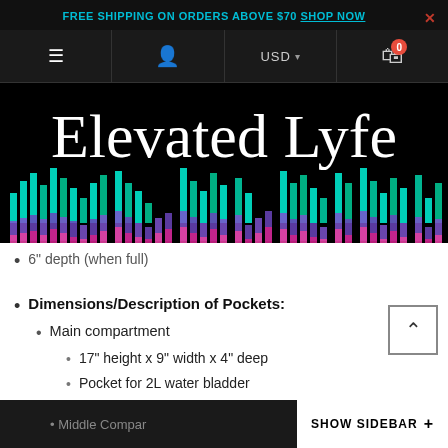FREE SHIPPING ON ORDERS ABOVE $70 SHOP NOW
[Figure (screenshot): Navigation bar with hamburger menu, user icon, USD currency selector, and cart with 0 items]
[Figure (logo): Elevated Lyfe brand logo with script text and colorful equalizer bar graphic on black background]
6" depth (when full)
Dimensions/Description of Pockets:
Main compartment
17" height x 9" width x 4" deep
Pocket for 2L water bladder
Extra storage
Middle Compartment SHOW SIDEBAR +